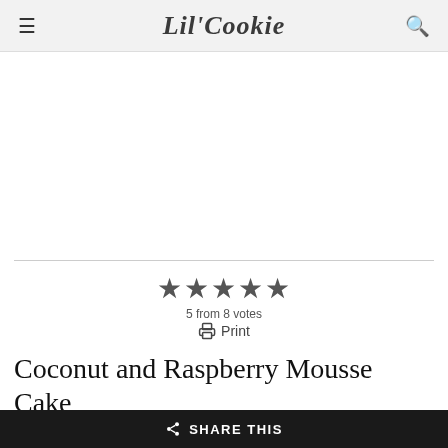Lil'Cookie
[Figure (other): White advertisement placeholder area]
5 from 8 votes
Print
Coconut and Raspberry Mousse Cake
Servings 24
SHARE THIS